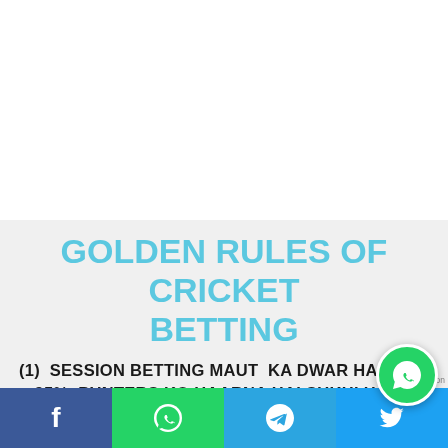[Figure (other): White blank top area of the page]
GOLDEN RULES OF CRICKET BETTING
(1)  SESSION BETTING MAUT  KA DWAR HAI ISME 95%  PUNTERS KO HAARNA HAI SUKHI HONA HAI TO    MATCH KHELO.AUR AGAR SESION KHELNA HI HAI TO PER SESION 1  HI SAUDA KARO AUR S...
[Figure (other): Social media footer bar with Facebook, WhatsApp, Telegram, Twitter, and mail icons. Green WhatsApp floating bubble in bottom right.]